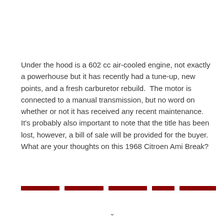Under the hood is a 602 cc air-cooled engine, not exactly a powerhouse but it has recently had a tune-up, new points, and a fresh carburetor rebuild.  The motor is connected to a manual transmission, but no word on whether or not it has received any recent maintenance.  It's probably also important to note that the title has been lost, however, a bill of sale will be provided for the buyer. What are your thoughts on this 1968 Citroen Ami Break?
[Figure (other): Five dark red horizontal bars arranged in a row as a decorative divider]